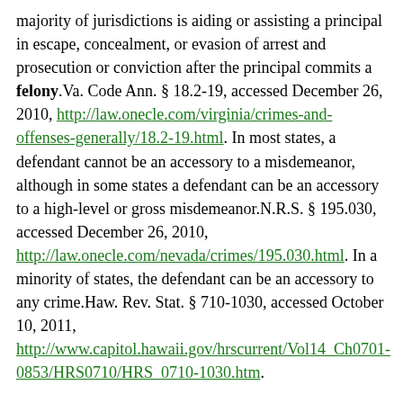majority of jurisdictions is aiding or assisting a principal in escape, concealment, or evasion of arrest and prosecution or conviction after the principal commits a felony.Va. Code Ann. § 18.2-19, accessed December 26, 2010, http://law.onecle.com/virginia/crimes-and-offenses-generally/18.2-19.html. In most states, a defendant cannot be an accessory to a misdemeanor, although in some states a defendant can be an accessory to a high-level or gross misdemeanor.N.R.S. § 195.030, accessed December 26, 2010, http://law.onecle.com/nevada/crimes/195.030.html. In a minority of states, the defendant can be an accessory to any crime.Haw. Rev. Stat. § 710-1030, accessed October 10, 2011, http://www.capitol.hawaii.gov/hrscurrent/Vol14_Ch0701-0853/HRS0710/HRS_0710-1030.htm.
In many states, words are enough to constitute the accessory criminal act element.Minn. Stat. Ann. § 609.495, accessed December 23, 2010, https://www.revisor.mn.gov/statutes/?id=609.495&year=2010. Often special categories of